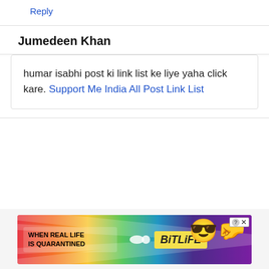Reply
Jumedeen Khan
humar isabhi post ki link list ke liye yaha click kare. Support Me India All Post Link List
[Figure (infographic): BitLife advertisement banner with rainbow colors and masked emoji character. Text reads: WHEN REAL LIFE IS QUARANTINED → BitLife]